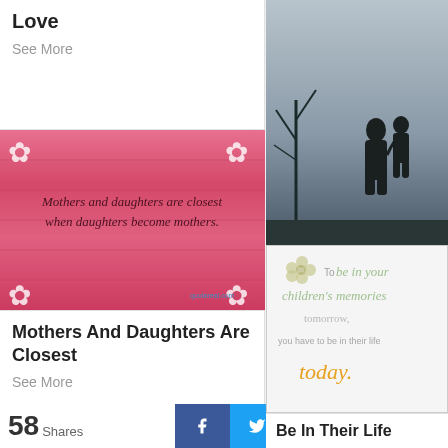Love
See More
[Figure (photo): Black and white foggy silhouette of a mother and child kneeling together outdoors]
[Figure (photo): Pink wooden background with white flowers in corners and cursive quote: Mothers and daughters are closest when daughters become mothers.]
Mothers And Daughters Are Closest
See More
Mother Daughter Foggy Silhouettes
See More
[Figure (illustration): Quote card with flower graphic and text: To be in your children's memories tomorrow, you have to be in their life today.]
Be In Their Life
See More
[Figure (photo): Close-up of two wrists with matching mother-daughter tattoos of ornate swirl designs]
58 Shares | Facebook | Twitter | Pinterest | WhatsApp | Share